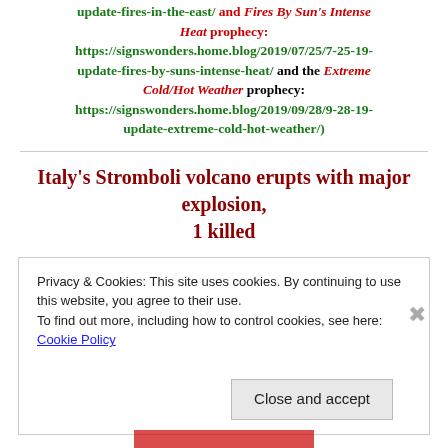update-fires-in-the-east/ and Fires By Sun's Intense Heat prophecy: https://signswonders.home.blog/2019/07/25/7-25-19-update-fires-by-suns-intense-heat/ and the Extreme Cold/Hot Weather prophecy: https://signswonders.home.blog/2019/09/28/9-28-19-update-extreme-cold-hot-weather/)
Italy's Stromboli volcano erupts with major explosion, 1 killed
Privacy & Cookies: This site uses cookies. By continuing to use this website, you agree to their use. To find out more, including how to control cookies, see here: Cookie Policy
Close and accept